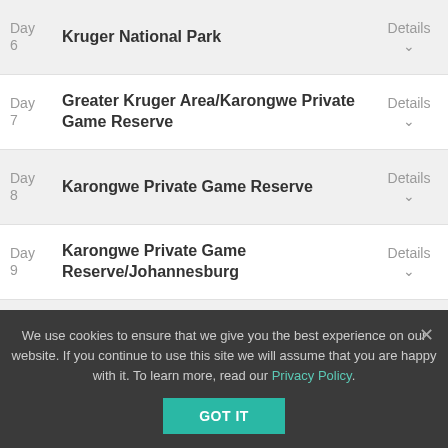Day 6 – Kruger National Park – Details
Day 7 – Greater Kruger Area/Karongwe Private Game Reserve – Details
Day 8 – Karongwe Private Game Reserve – Details
Day 9 – Karongwe Private Game Reserve/Johannesburg – Details
Day 10 – Johannesburg/Victoria Falls – Details
We use cookies to ensure that we give you the best experience on our website. If you continue to use this site we will assume that you are happy with it. To learn more, read our Privacy Policy.